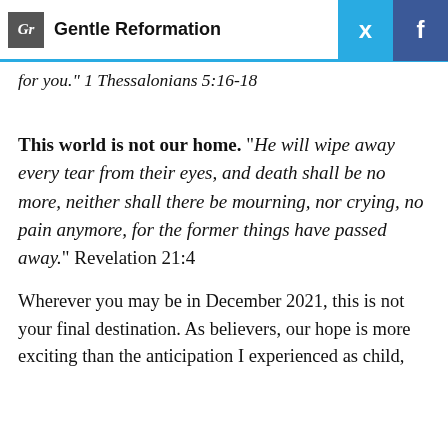Gentle Reformation
for you.” 1 Thessalonians 5:16-18
This world is not our home. “He will wipe away every tear from their eyes, and death shall be no more, neither shall there be mourning, nor crying, no pain anymore, for the former things have passed away.” Revelation 21:4
Wherever you may be in December 2021, this is not your final destination. As believers, our hope is more exciting than the anticipation I experienced as child,